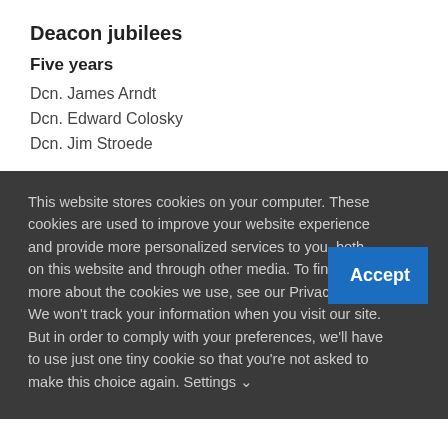Deacon jubilees
Five years
Dcn. James Arndt
Dcn. Edward Colosky
Dcn. Jim Stroede
This website stores cookies on your computer. These cookies are used to improve your website experience and provide more personalized services to you, both on this website and through other media. To find out more about the cookies we use, see our Privacy Policy. We won't track your information when you visit our site. But in order to comply with your preferences, we'll have to use just one tiny cookie so that you're not asked to make this choice again. Settings